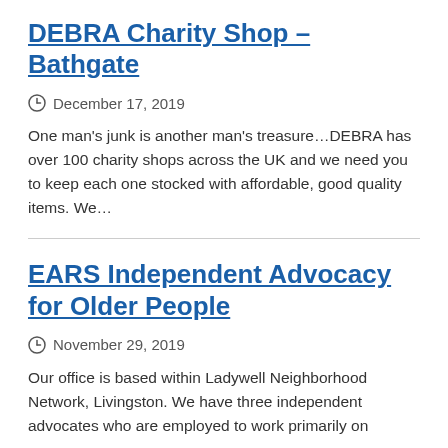DEBRA Charity Shop – Bathgate
December 17, 2019
One man's junk is another man's treasure…DEBRA has over 100 charity shops across the UK and we need you to keep each one stocked with affordable, good quality items. We…
EARS Independent Advocacy for Older People
November 29, 2019
Our office is based within Ladywell Neighborhood Network, Livingston. We have three independent advocates who are employed to work primarily on